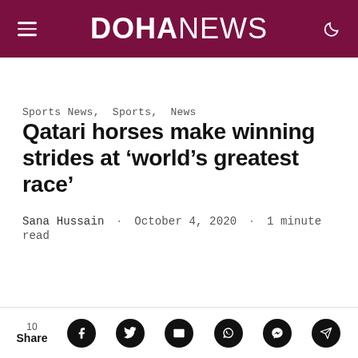DOHANEWS
Sports News, Sports, News
Qatari horses make winning strides at ‘world’s greatest race’
Sana Hussain · October 4, 2020 · 1 minute read
10 Share [social icons: Facebook, Twitter, Email, WhatsApp, Messenger, Telegram]